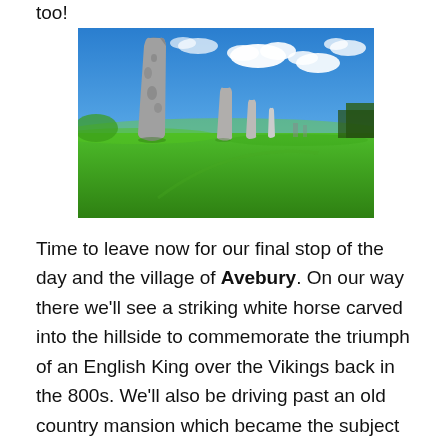too!
[Figure (photo): Photograph of standing stones at Avebury, England. Large grey megalithic stones stand upright in a green grassy field, with a blue sky and white clouds in the background. Smaller stones are visible receding into the distance.]
Time to leave now for our final stop of the day and the village of Avebury. On our way there we'll see a striking white horse carved into the hillside to commemorate the triumph of an English King over the Vikings back in the 800s. We'll also be driving past an old country mansion which became the subject of a notorious (and true!) murder mystery, a place that is in fact at the origin of the